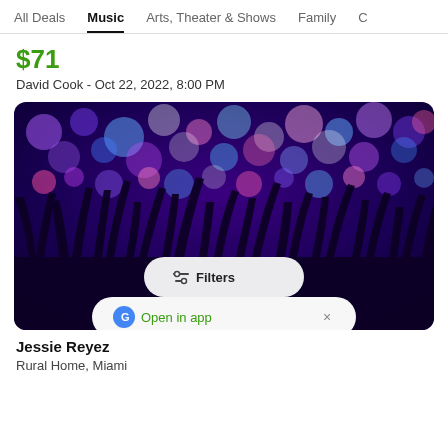All Deals  Music  Arts, Theater & Shows  Family  C
$71
David Cook - Oct 22, 2022, 8:00 PM
[Figure (photo): Concert crowd silhouette with hands raised against colorful bokeh stage lights in purple, blue, and pink. A 'Filters' button overlay appears in the center, and an 'Open in app' banner at the bottom.]
Jessie Reyez
Rural Home, Miami